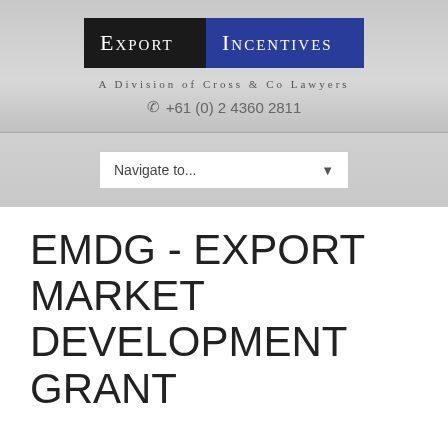[Figure (logo): Export Incentives logo — black left panel with 'Export' in white small-caps serif, blue right panel with 'Incentives' in white small-caps serif. Subtitle: 'A Division of Cross & Co Lawyers'. Phone: +61 (0) 2 4360 2811]
Navigate to...
EMDG - EXPORT MARKET DEVELOPMENT GRANT